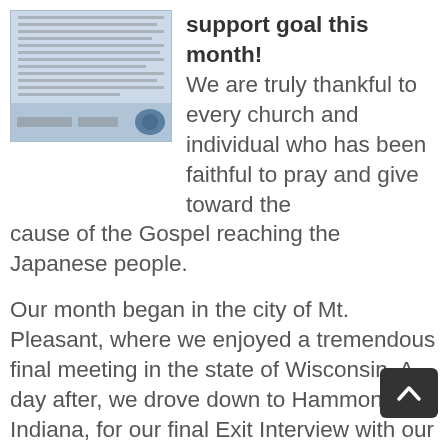[Figure (photo): A scanned document or letter with horizontal text lines, and a bottom bar with stamps/logos on a light blue background.]
support goal this month! We are truly thankful to every church and individual who has been faithful to pray and give toward the cause of the Gospel reaching the Japanese people.
Our month began in the city of Mt. Pleasant, where we enjoyed a tremendous final meeting in the state of Wisconsin. A day after, we drove down to Hammond, Indiana, for our final Exit Interview with our missions support agency, FBMI. The meeting went very smoothly and resulted in a raise in support from the First Baptist Church of Hammond, the church under which FBMI serves! During that same meeting,